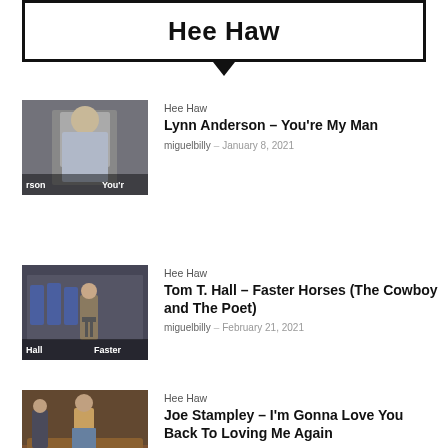Hee Haw
Hee Haw | Lynn Anderson – You're My Man | miguelbilly – January 8, 2021
Hee Haw | Tom T. Hall – Faster Horses (The Cowboy and The Poet) | miguelbilly – February 21, 2021
Hee Haw | Joe Stampley – I'm Gonna Love You Back To Loving Me Again | miguelbilly – May 10, 2021